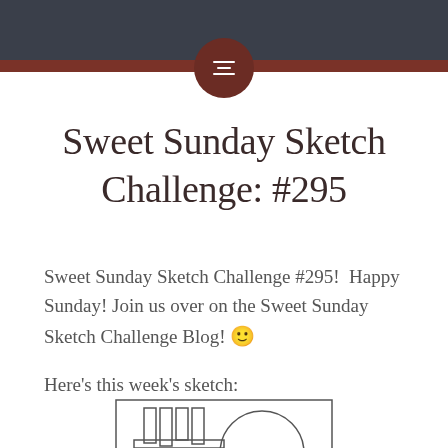Sweet Sunday Sketch Challenge: #295
Sweet Sunday Sketch Challenge #295!  Happy Sunday! Join us over on the Sweet Sunday Sketch Challenge Blog! 🙂
Here's this week's sketch:
[Figure (illustration): A card layout sketch showing a large circle overlapping a rectangular card base, with several narrow vertical rectangles/strips in the upper left area of the card]